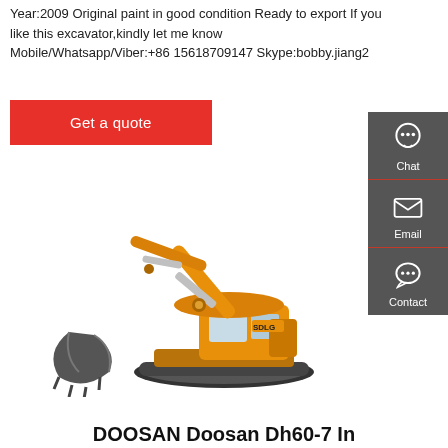Year:2009 Original paint in good condition Ready to export If you like this excavator,kindly let me know Mobile/Whatsapp/Viber:+86 15618709147 Skype:bobby.jiang2
Get a quote
[Figure (photo): Orange SDLG branded excavator with bucket extended, on white background]
[Figure (infographic): Sidebar with Chat, Email, Contact icons on dark grey background]
DOOSAN Doosan Dh60-7 In